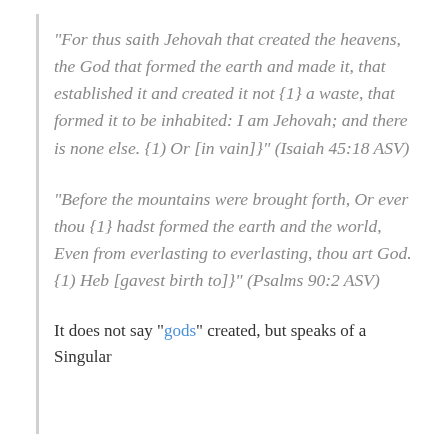“For thus saith Jehovah that created the heavens, the God that formed the earth and made it, that established it and created it not {1} a waste, that formed it to be inhabited: I am Jehovah; and there is none else. {1) Or [in vain]}” (Isaiah 45:18 ASV)
“Before the mountains were brought forth, Or ever thou {1} hadst formed the earth and the world, Even from everlasting to everlasting, thou art God. {1) Heb [gavest birth to]}” (Psalms 90:2 ASV)
It does not say “gods” created, but speaks of a Singular